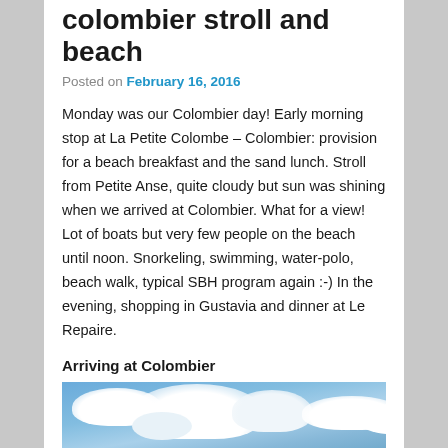colombier stroll and beach
Posted on February 16, 2016
Monday was our Colombier day! Early morning stop at La Petite Colombe – Colombier: provision for a beach breakfast and the sand lunch. Stroll from Petite Anse, quite cloudy but sun was shining when we arrived at Colombier. What for a view! Lot of boats but very few people on the beach until noon. Snorkeling, swimming, water-polo, beach walk, typical SBH program again :-) In the evening, shopping in Gustavia and dinner at Le Repaire.
Arriving at Colombier
[Figure (photo): Sky with white clouds against a blue sky, photo taken at Colombier beach]